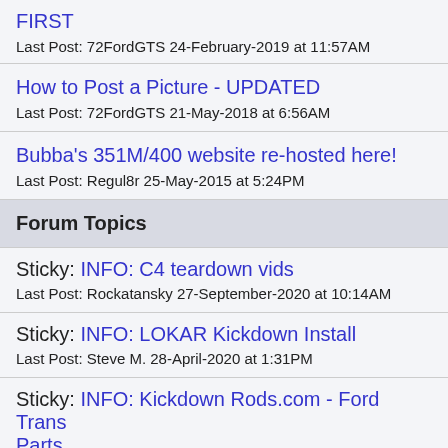FIRST
Last Post: 72FordGTS 24-February-2019 at 11:57AM
How to Post a Picture - UPDATED
Last Post: 72FordGTS 21-May-2018 at 6:56AM
Bubba's 351M/400 website re-hosted here!
Last Post: Regul8r 25-May-2015 at 5:24PM
Forum Topics
Sticky: INFO: C4 teardown vids
Last Post: Rockatansky 27-September-2020 at 10:14AM
Sticky: INFO: LOKAR Kickdown Install
Last Post: Steve M. 28-April-2020 at 1:31PM
Sticky: INFO: Kickdown Rods.com - Ford Trans Parts